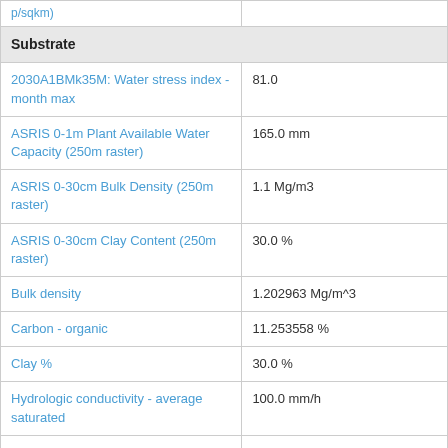| Parameter | Value |
| --- | --- |
| p/sqkm) |  |
| Substrate |  |
| 2030A1BMk35M: Water stress index - month max | 81.0 |
| ASRIS 0-1m Plant Available Water Capacity (250m raster) | 165.0 mm |
| ASRIS 0-30cm Bulk Density (250m raster) | 1.1 Mg/m3 |
| ASRIS 0-30cm Clay Content (250m raster) | 30.0 % |
| Bulk density | 1.202963 Mg/m^3 |
| Carbon - organic | 11.253558 % |
| Clay % | 30.0 % |
| Hydrologic conductivity - average saturated | 100.0 mm/h |
| Moisture Index - annual mean (Bio28) | 1.0 |